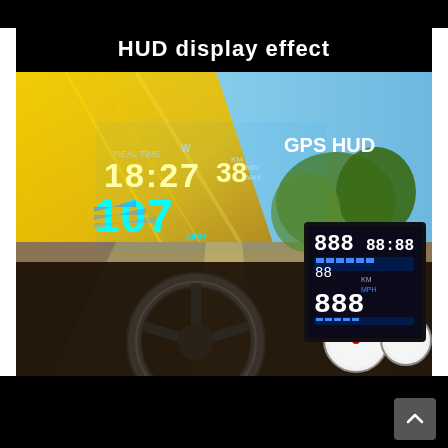[Figure (photo): Product advertisement image showing a GPS HUD (Head-Up Display) effect in a car. The top portion shows text 'HUD display effect' in white on black background. Below is a composite photo: a car interior with a steering wheel and dashboard gauges, with a windshield projection of HUD data showing time 18:27, speed 38 km/h and 107 MPH in yellow/blue digits overlaid on a road scene. The label 'GPS HUD' appears in white in the upper right. A small device display showing digit readouts (888, 88, 88:88) is shown in the lower right corner of the photo. The overall background behind the main image panel is white, with black bars at top and bottom.]